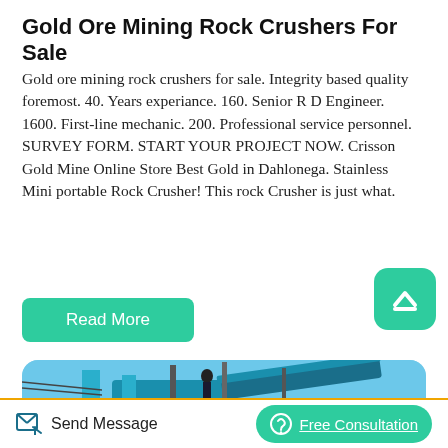Gold Ore Mining Rock Crushers For Sale
Gold ore mining rock crushers for sale. Integrity based quality foremost. 40. Years experiance. 160. Senior R D Engineer. 1600. First-line mechanic. 200. Professional service personnel. SURVEY FORM. START YOUR PROJECT NOW. Crisson Gold Mine Online Store Best Gold in Dahlonega. Stainless Mini portable Rock Crusher! This rock Crusher is just what.
[Figure (other): Teal rounded square scroll-to-top button with upward chevron icon]
[Figure (other): Teal Read More button]
[Figure (photo): Photo of industrial mining rock crusher machinery with a person standing on top, blue sky background, cyan/blue colored equipment]
Send Message   Free Consultation